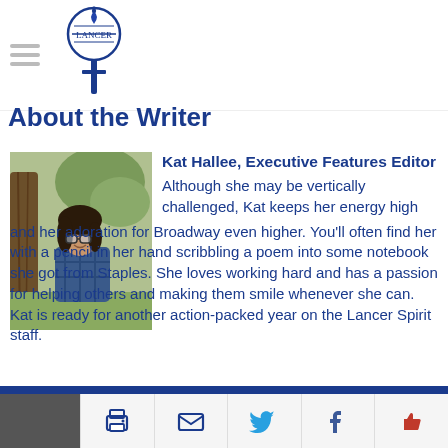Lancer Spirit — site header with hamburger menu and logo
About the Writer
[Figure (photo): Photograph of Kat Hallee standing outdoors near a tree, smiling, wearing a plaid jacket and glasses.]
Kat Hallee, Executive Features Editor
Although she may be vertically challenged, Kat keeps her energy high and her adoration for Broadway even higher. You'll often find her with a pencil in her hand scribbling a poem into some notebook she got from Staples. She loves working hard and has a passion for helping others and making them smile whenever she can. Kat is ready for another action-packed year on the Lancer Spirit staff.
Footer with print, email, Twitter, Facebook, and like share icons